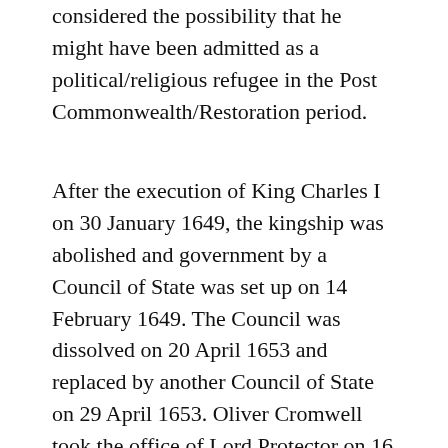considered the possibility that he might have been admitted as a political/religious refugee in the Post Commonwealth/Restoration period.
After the execution of King Charles I on 30 January 1649, the kingship was abolished and government by a Council of State was set up on 14 February 1649. The Council was dissolved on 20 April 1653 and replaced by another Council of State on 29 April 1653. Oliver Cromwell took the office of Lord Protector on 16 December 1653 and held it till his death on 3 September 1658. His son, Richard Cromwell, succeeded to the same office on the day of his father's death, and abdicated on 24 May 1659. The Cromwellian regime was a radical Puritan one,